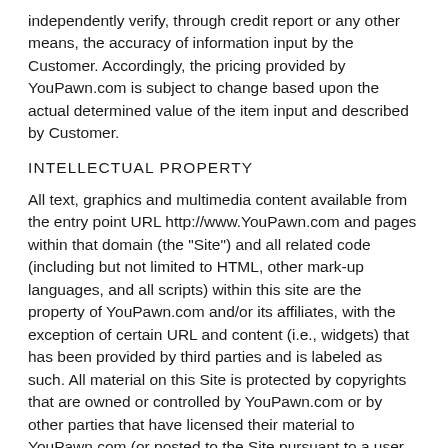independently verify, through credit report or any other means, the accuracy of information input by the Customer. Accordingly, the pricing provided by YouPawn.com is subject to change based upon the actual determined value of the item input and described by Customer.
INTELLECTUAL PROPERTY
All text, graphics and multimedia content available from the entry point URL http://www.YouPawn.com and pages within that domain (the "Site") and all related code (including but not limited to HTML, other mark-up languages, and all scripts) within this site are the property of YouPawn.com and/or its affiliates, with the exception of certain URL and content (i.e., widgets) that has been provided by third parties and is labeled as such. All material on this Site is protected by copyrights that are owned or controlled by YouPawn.com or by other parties that have licensed their material to YouPawn.com (or posted to the Site pursuant to a user agreement with YouPawn.com). Material from the Site may not be copied, reproduced, republished, uploaded, posted, transmitted or distributed in any way. Modification of the materials or use of the materials